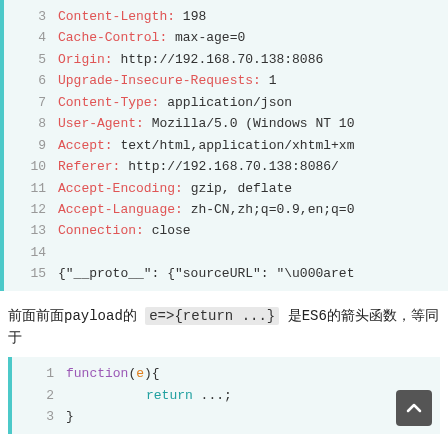[Figure (screenshot): Code block showing HTTP request headers lines 3-15, with colored syntax highlighting (keys in red, values in dark), on a light teal background]
前面payload的 e=>{return ...} 是ES6的箭头函数，等同于
[Figure (screenshot): Code block showing function(e){ return ...; } on lines 1-3]